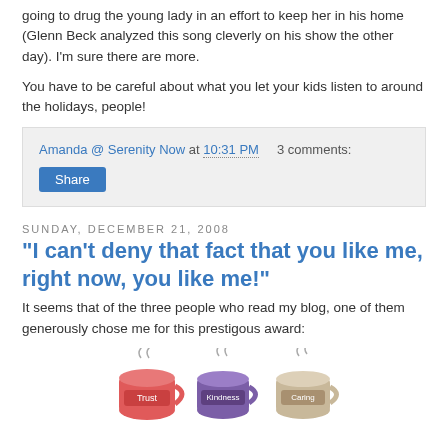going to drug the young lady in an effort to keep her in his home (Glenn Beck analyzed this song cleverly on his show the other day). I'm sure there are more.
You have to be careful about what you let your kids listen to around the holidays, people!
Amanda @ Serenity Now at 10:31 PM    3 comments:
Sunday, December 21, 2008
"I can't deny that fact that you like me, right now, you like me!"
It seems that of the three people who read my blog, one of them generously chose me for this prestigous award:
[Figure (illustration): Illustration of several decorative coffee/tea mugs with steam rising, labeled with words like Trust, Kindness, Caring]